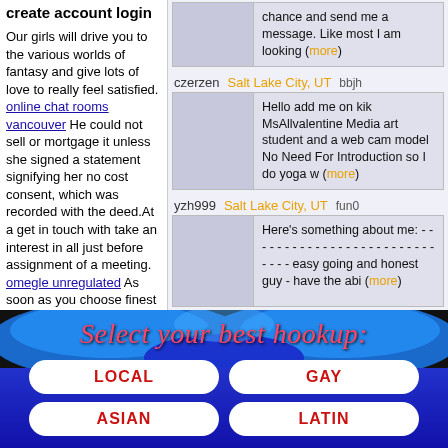create account login
Our girls will drive you to the various worlds of fantasy and give lots of love to really feel satisfied. online chat rooms vancouver He could not sell or mortgage it unless she signed a statement signifying her no cost consent, which was recorded with the deed. At a get in touch with take an interest in all just before assignment of a meeting. omegle unregulated As soon as you choose finest and trusted web site then it could possibly enable you to disable or delete your
chance and send me a message. Like most I am looking (more)
czerzen   Salt Lake City, UT   bbjh
Hello add me on kik MsAllvalentine Media art student and a web cam model No Need For Introduction so I do yoga w (more)
yzh999   Salt Lake City, UT   fun0
Here's something about me: - - - - - - - - - - - - - - - - - - - - - - - - - - - - - easy going and honest guy - have the abi (more)
[Figure (illustration): Bottom banner with blue background, decorative wave shapes, red italic text 'Select your best hookup:', and four white pill-shaped buttons labeled LOCAL, GAY, ASIAN, LATIN in red bold text.]